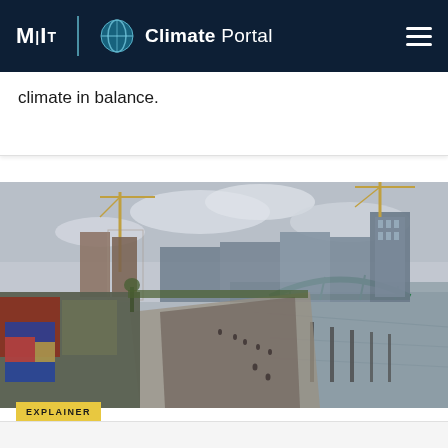MIT Climate Portal
climate in balance.
[Figure (photo): Aerial view of a city riverfront with construction cranes, modern skyscrapers, a green arched bridge, and people walking along a riverside promenade. Buildings with street art visible on the left. Overcast sky.]
EXPLAINER